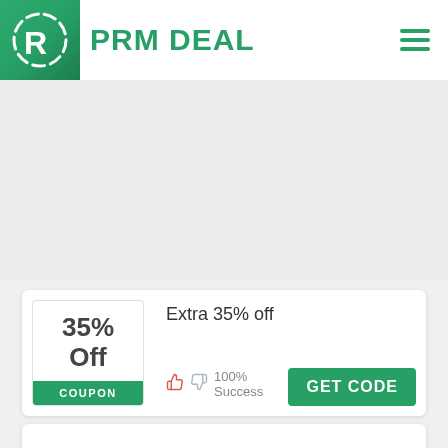[Figure (logo): PRM DEAL logo with green R in circle icon and green text PRM DEAL, hamburger menu icon top right]
35% Off
COUPON
Extra 35% off
100% Success
GET CODE